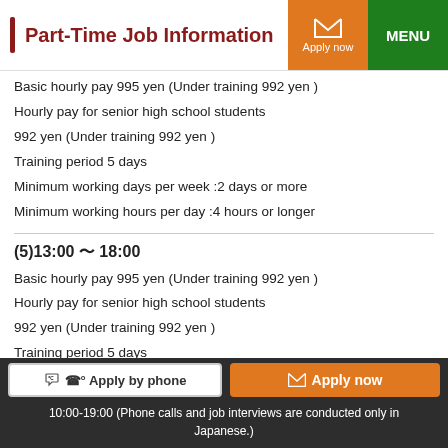Part-Time Job Information
Basic hourly pay 995 yen (Under training 992 yen )
Hourly pay for senior high school students
992 yen (Under training 992 yen )
Training period 5 days
Minimum working days per week :2 days or more
Minimum working hours per day :4 hours or longer
(5)13:00 〜 18:00
Basic hourly pay 995 yen (Under training 992 yen )
Hourly pay for senior high school students
992 yen (Under training 992 yen )
Training period 5 days
Minimum working days per week :Negotiable
Apply by phone   Apply now
10:00-19:00 (Phone calls and job interviews are conducted only in Japanese.)